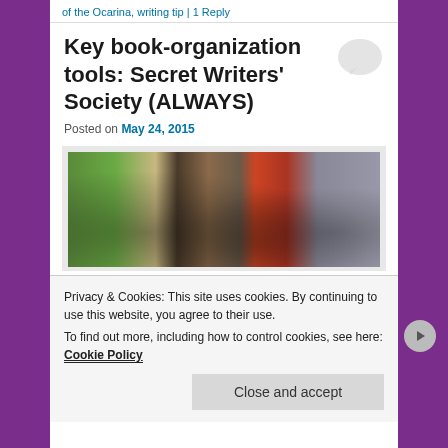of the Ocarina, writing tip | 1 Reply
Key book-organization tools: Secret Writers' Society (ALWAYS)
Posted on May 24, 2015
[Figure (photo): Group of people sitting around a table in a restaurant or gathering space, photographed from above/across the table]
Privacy & Cookies: This site uses cookies. By continuing to use this website, you agree to their use.
To find out more, including how to control cookies, see here: Cookie Policy